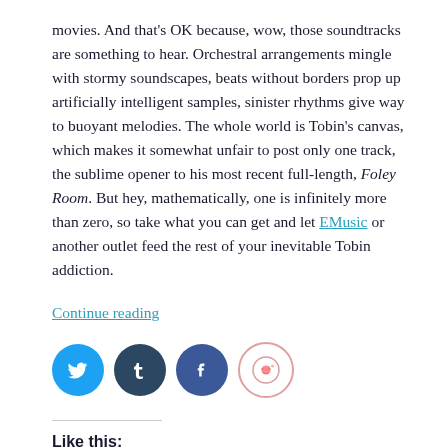movies. And that's OK because, wow, those soundtracks are something to hear. Orchestral arrangements mingle with stormy soundscapes, beats without borders prop up artificially intelligent samples, sinister rhythms give way to buoyant melodies. The whole world is Tobin's canvas, which makes it somewhat unfair to post only one track, the sublime opener to his most recent full-length, Foley Room. But hey, mathematically, one is infinitely more than zero, so take what you can get and let EMusic or another outlet feed the rest of your inevitable Tobin addiction.
Continue reading
[Figure (infographic): Social sharing icons: Twitter (blue circle), Tumblr (dark blue circle), Facebook (blue circle), Reddit (light circle with pink border)]
Like this: